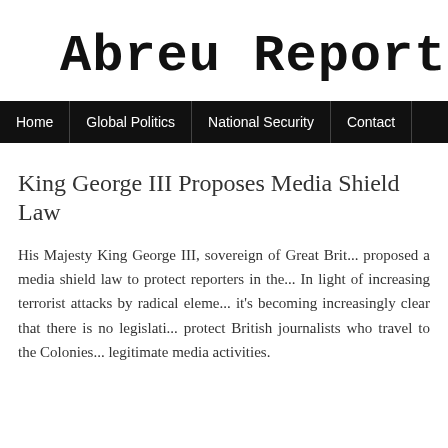Abreu Report
Home | Global Politics | National Security | Contact
King George III Proposes Media Shield Law
His Majesty King George III, sovereign of Great Britain, proposed a media shield law to protect reporters in the... In light of increasing terrorist attacks by radical elements, it's becoming increasingly clear that there is no legislation to protect British journalists who travel to the Colonies... legitimate media activities.